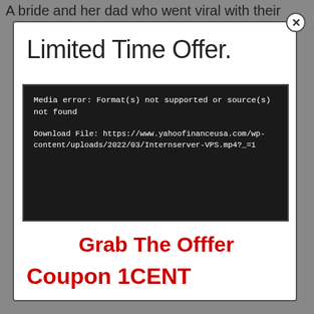A bride and her dad who went viral with their
Limited Time Offer.
[Figure (screenshot): Dark video player box showing media error: Format(s) not supported or source(s) not found. Download File: https://www.yahoofinanceusa.com/wp-content/uploads/2022/03/Internserver-VPS.mp4?_=1]
Grab The Offfer
Coupon 1CENT